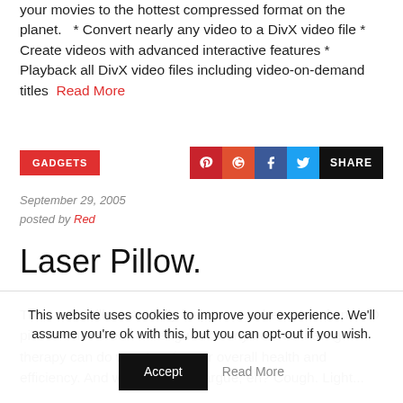your movies to the hottest compressed format on the planet.   * Convert nearly any video to a DivX video file * Create videos with advanced interactive features * Playback all DivX video files including video-on-demand titles   Read More
GADGETS
September 29, 2005
posted by Red
Laser Pillow.
The Laser Pillow. Actually it appears to be more of an LED pillow. Our Korean colleagues clearly believe that light therapy can do wonders for our overall health and efficiency. And who are we to argue, eh? Cough. Light...
This website uses cookies to improve your experience. We'll assume you're ok with this, but you can opt-out if you wish.
Accept   Read More